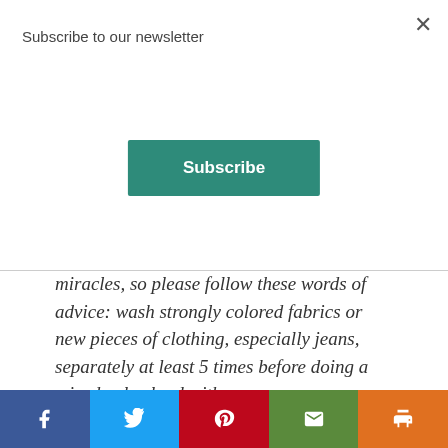Subscribe to our newsletter
Subscribe
miracles, so please follow these words of advice: wash strongly colored fabrics or new pieces of clothing, especially jeans, separately at least 5 times before doing a mixed color load with
[Figure (other): Social media share bar with Facebook, Twitter, Pinterest, Email, and Print buttons]